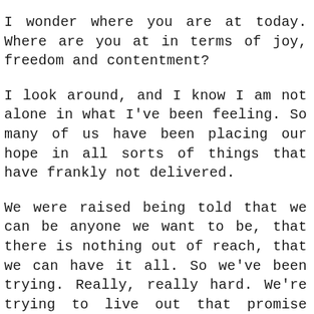I wonder where you are at today. Where are you at in terms of joy, freedom and contentment?
I look around, and I know I am not alone in what I've been feeling. So many of us have been placing our hope in all sorts of things that have frankly not delivered.
We were raised being told that we can be anyone we want to be, that there is nothing out of reach, that we can have it all. So we've been trying. Really, really hard. We're trying to live out that promise where we can have a solid marriage, raise good kids, pursue our